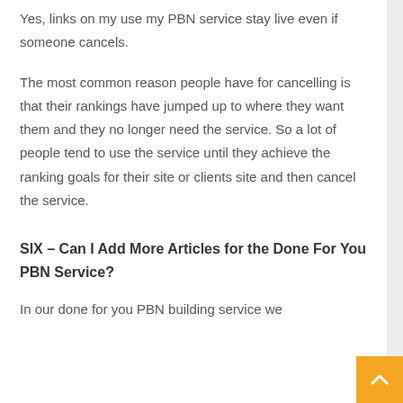Yes, links on my use my PBN service stay live even if someone cancels.
The most common reason people have for cancelling is that their rankings have jumped up to where they want them and they no longer need the service. So a lot of people tend to use the service until they achieve the ranking goals for their site or clients site and then cancel the service.
SIX – Can I Add More Articles for the Done For You PBN Service?
In our done for you PBN building service we